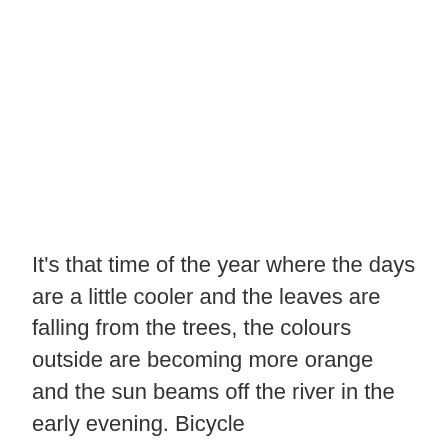It's that time of the year where the days are a little cooler and the leaves are falling from the trees, the colours outside are becoming more orange and the sun beams off the river in the early evening. Bicycle